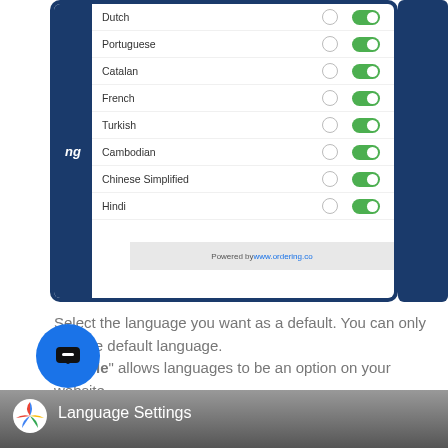[Figure (screenshot): Tablet screenshot showing a language settings list with Dutch, Portuguese, Catalan, French, Turkish, Cambodian, Chinese Simplified, and Hindi — each with a radio button (off) and a green toggle (on). Footer shows 'Powered by www.ordering.co'.]
Select the language you want as a default. You can only set one default language. "Enable" allows languages to be an option on your website
Language Settings Video
In this section, you can see all the languages you have enabled for your website.
[Figure (screenshot): Bottom portion of a video thumbnail showing the Language Settings video with a colorful logo and title 'Language Settings'.]